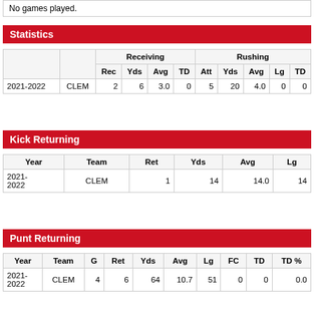No games played.
Statistics
| Year | Team | Rec | Yds | Avg | TD | Att | Yds | Avg | Lg | TD |
| --- | --- | --- | --- | --- | --- | --- | --- | --- | --- | --- |
| 2021-2022 | CLEM | 2 | 6 | 3.0 | 0 | 5 | 20 | 4.0 | 0 | 0 |
Kick Returning
| Year | Team | Ret | Yds | Avg | Lg |
| --- | --- | --- | --- | --- | --- |
| 2021-2022 | CLEM | 1 | 14 | 14.0 | 14 |
Punt Returning
| Year | Team | G | Ret | Yds | Avg | Lg | FC | TD | TD % |
| --- | --- | --- | --- | --- | --- | --- | --- | --- | --- |
| 2021-2022 | CLEM | 4 | 6 | 64 | 10.7 | 51 | 0 | 0 | 0.0 |